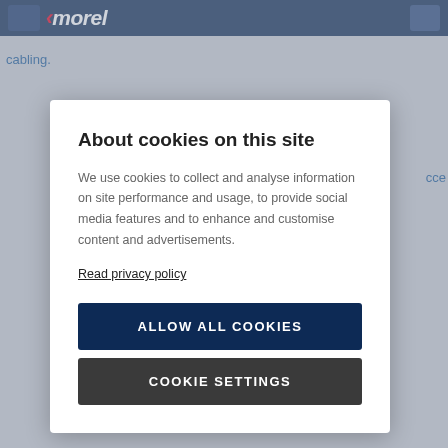[Figure (screenshot): Website header navigation bar with Morel logo on dark navy background]
cabling.
cce
About cookies on this site
We use cookies to collect and analyse information on site performance and usage, to provide social media features and to enhance and customise content and advertisements.
Read privacy policy
ALLOW ALL COOKIES
COOKIE SETTINGS